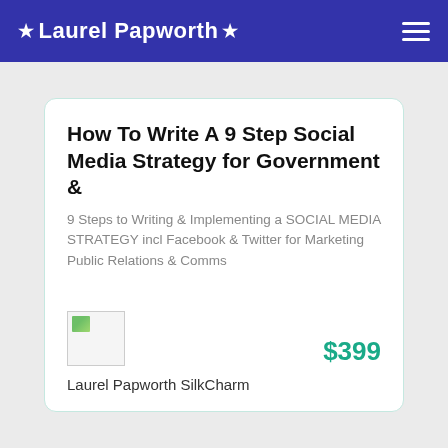★ Laurel Papworth ★
How To Write A 9 Step Social Media Strategy for Government &
9 Steps to Writing & Implementing a SOCIAL MEDIA STRATEGY incl Facebook & Twitter for Marketing Public Relations & Comms
[Figure (photo): Small thumbnail image placeholder with green leaf graphic]
$399
Laurel Papworth SilkCharm